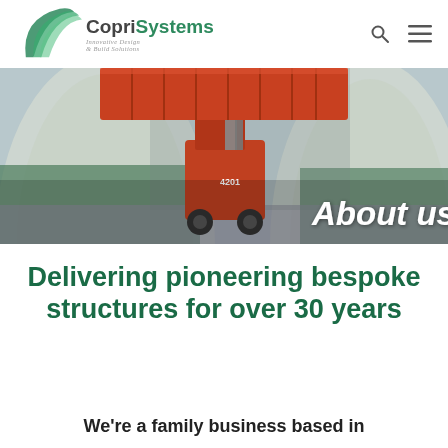[Figure (logo): CopriSystems logo with green arc/leaf icon and tagline 'Innovative Design & Build Solutions']
[Figure (photo): A red forklift/reach-stacker carrying a red shipping container inside a large arched fabric or metal structure building. 'About us' text overlaid in white italic bold on the lower right of the image.]
Delivering pioneering bespoke structures for over 30 years
We're a family business based in